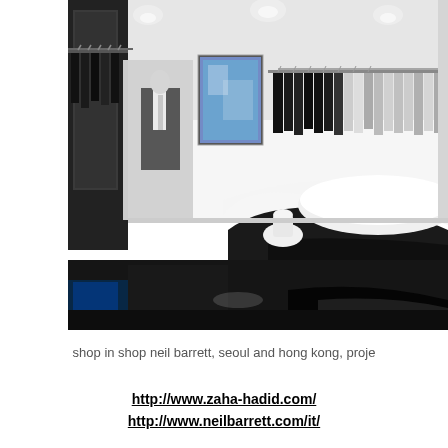[Figure (photo): Interior of a high-end fashion retail store (Neil Barrett shop in shop, Seoul and Hong Kong). The image shows a sleek monochrome interior with dark glossy floors, white curved display table/counter in the foreground, clothing racks with garments along the walls, a mannequin in a dark suit, and a large display screen on the wall. The space is minimalist and modern.]
shop in shop neil barrett, seoul and hong kong, proje
http://www.zaha-hadid.com/
http://www.neilbarrett.com/it/